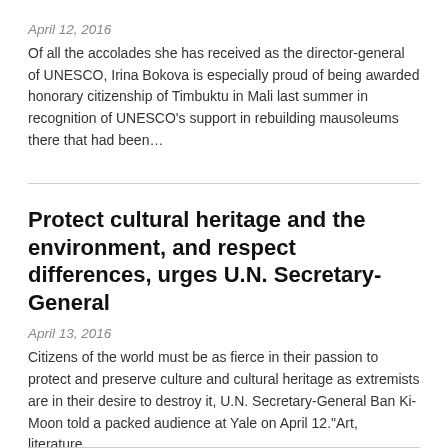April 12, 2016
Of all the accolades she has received as the director-general of UNESCO, Irina Bokova is especially proud of being awarded honorary citizenship of Timbuktu in Mali last summer in recognition of UNESCO’s support in rebuilding mausoleums there that had been…
Protect cultural heritage and the environment, and respect differences, urges U.N. Secretary-General
April 13, 2016
Citizens of the world must be as fierce in their passion to protect and preserve culture and cultural heritage as extremists are in their desire to destroy it, U.N. Secretary-General Ban Ki-Moon told a packed audience at Yale on April 12.“Art, literature…